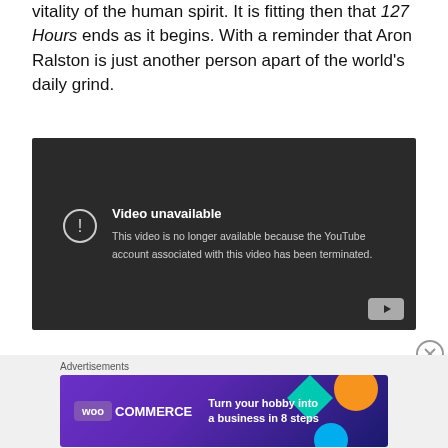vitality of the human spirit. It is fitting then that 127 Hours ends as it begins. With a reminder that Aron Ralston is just another person apart of the world's daily grind.
[Figure (screenshot): Embedded YouTube video player showing 'Video unavailable' error message. Text reads: 'This video is no longer available because the YouTube account associated with this video has been terminated.' YouTube logo icon visible in bottom right corner of the dark player.]
Advertisements
[Figure (screenshot): WooCommerce advertisement banner with purple background and colorful geometric shapes. Text reads 'Turn your hobby into a business in 8 steps'.]